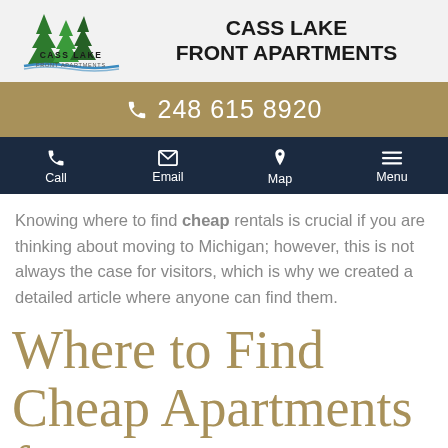[Figure (logo): Cass Lake Front Apartments logo with pine trees above stylized water]
CASS LAKE
FRONT APARTMENTS
248 615 8920
Call | Email | Map | Menu
Knowing where to find cheap rentals is crucial if you are thinking about moving to Michigan; however, this is not always the case for visitors, which is why we created a detailed article where anyone can find them.
Where to Find Cheap Apartments for Rent